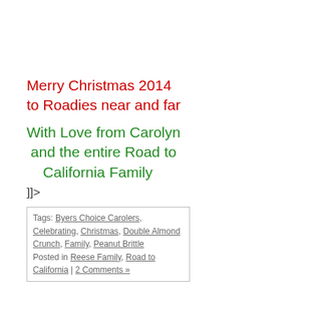Merry Christmas 2014 to Roadies near and far
With Love from Carolyn and the entire Road to California Family
]]>
Tags: Byers Choice Carolers, Celebrating, Christmas, Double Almond Crunch, Family, Peanut Brittle Posted in Reese Family, Road to California | 2 Comments »